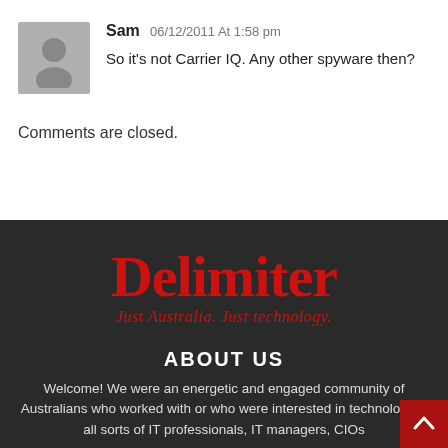Sam 06/12/2011 At 1:58 pm
So it's not Carrier IQ. Any other spyware then?
Comments are closed.
[Figure (logo): Delimiter logo with tagline 'Just Australia. Just technology.' in red on dark background]
ABOUT US
Welcome! We were an energetic and engaged community of Australians who worked with or who were interested in technology -- all sorts of IT professionals, IT managers, CIOs